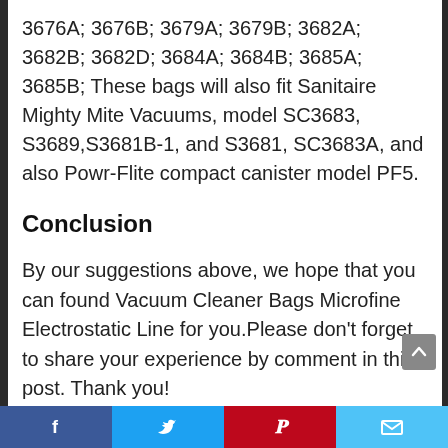3676A; 3676B; 3679A; 3679B; 3682A; 3682B; 3682D; 3684A; 3684B; 3685A; 3685B; These bags will also fit Sanitaire Mighty Mite Vacuums, model SC3683, S3689,S3681B-1, and S3681, SC3683A, and also Powr-Flite compact canister model PF5.
Conclusion
By our suggestions above, we hope that you can found Vacuum Cleaner Bags Microfine Electrostatic Line for you.Please don't forget to share your experience by comment in this post. Thank you!
Social share bar: Facebook, Twitter, Pinterest, Email